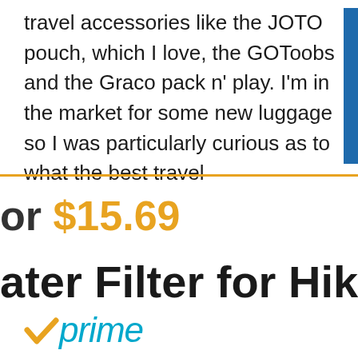travel accessories like the JOTO pouch, which I love, the GOToobs and the Graco pack n' play. I'm in the market for some new luggage so I was particularly curious as to what the best travel
or $15.69
ater Filter for Hiki
[Figure (logo): Amazon Prime logo with orange checkmark and blue 'prime' italic text]